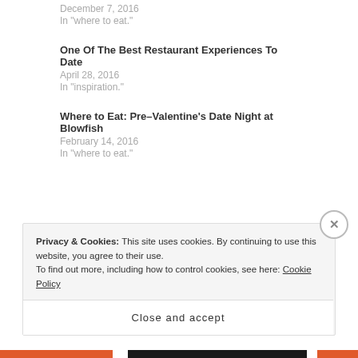December 7, 2016
In "where to eat."
One Of The Best Restaurant Experiences To Date
April 28, 2016
In "inspiration."
Where to Eat: Pre-Valentine's Date Night at Blowfish
February 14, 2016
In "where to eat."
Bar Isabel
College
crew
eats
food
Privacy & Cookies: This site uses cookies. By continuing to use this website, you agree to their use.
To find out more, including how to control cookies, see here: Cookie Policy
Close and accept